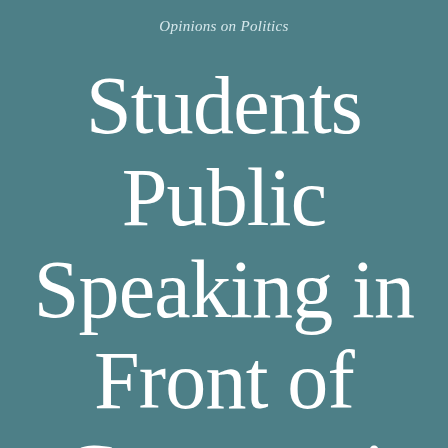Opinions on Politics
Students Public Speaking in Front of Communi